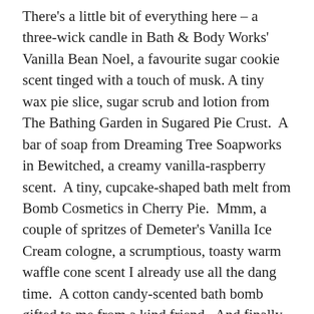There's a little bit of everything here – a three-wick candle in Bath & Body Works' Vanilla Bean Noel, a favourite sugar cookie scent tinged with a touch of musk. A tiny wax pie slice, sugar scrub and lotion from The Bathing Garden in Sugared Pie Crust.  A bar of soap from Dreaming Tree Soapworks in Bewitched, a creamy vanilla-raspberry scent.  A tiny, cupcake-shaped bath melt from Bomb Cosmetics in Cherry Pie.  Mmm, a couple of spritzes of Demeter's Vanilla Ice Cream cologne, a scrumptious, toasty warm waffle cone scent I already use all the dang time.  A cotton candy-scented bath bomb gifted to me from a kind friend.  And finally, a post-bath cup of tea using this delicious Binx blend sent to me by another kind friend (named after Binx the cat from the movie Hocus Pocus, it contains catnip!)  Oh, and a couple of food-shaped wax tarts from The Bathing Garden because the PJs practically demanded it. 🙂